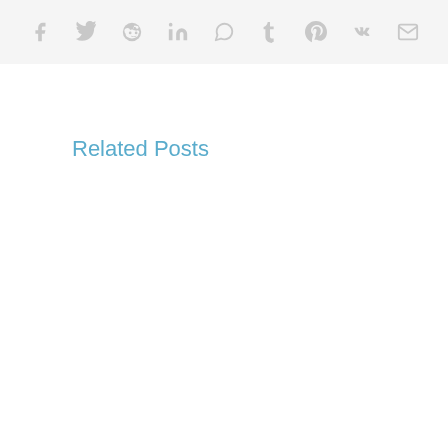[Figure (other): Social media share bar with icons for Facebook, Twitter, Reddit, LinkedIn, WhatsApp, Tumblr, Pinterest, VK, and Email]
Related Posts